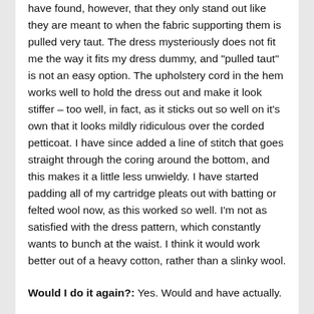have found, however, that they only stand out like they are meant to when the fabric supporting them is pulled very taut. The dress mysteriously does not fit me the way it fits my dress dummy, and "pulled taut" is not an easy option. The upholstery cord in the hem works well to hold the dress out and make it look stiffer – too well, in fact, as it sticks out so well on it's own that it looks mildly ridiculous over the corded petticoat. I have since added a line of stitch that goes straight through the coring around the bottom, and this makes it a little less unwieldy. I have started padding all of my cartridge pleats out with batting or felted wool now, as this worked so well. I'm not as satisfied with the dress pattern, which constantly wants to bunch at the waist. I think it would work better out of a heavy cotton, rather than a slinky wool.
Would I do it again?: Yes. Would and have actually.